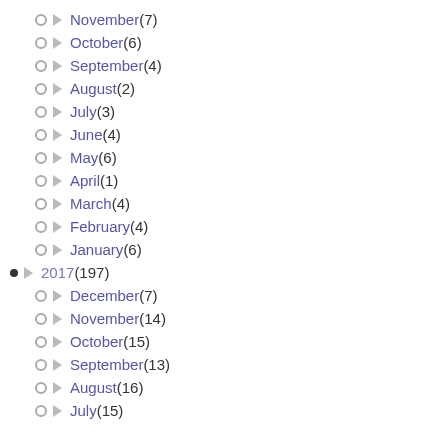November (7)
October (6)
September (4)
August (2)
July (3)
June (4)
May (6)
April (1)
March (4)
February (4)
January (6)
2017 (197)
December (7)
November (14)
October (15)
September (13)
August (16)
July (15)